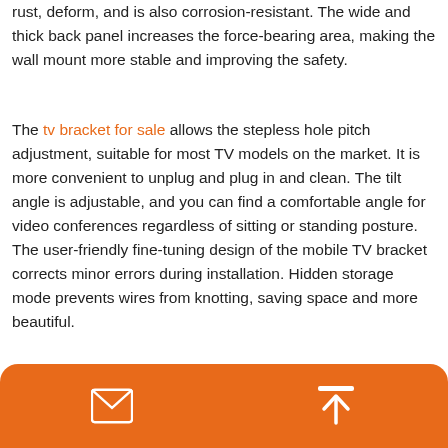rust, deform, and is also corrosion-resistant. The wide and thick back panel increases the force-bearing area, making the wall mount more stable and improving the safety.
The tv bracket for sale allows the stepless hole pitch adjustment, suitable for most TV models on the market. It is more convenient to unplug and plug in and clean. The tilt angle is adjustable, and you can find a comfortable angle for video conferences regardless of sitting or standing posture. The user-friendly fine-tuning design of the mobile TV bracket corrects minor errors during installation. Hidden storage mode prevents wires from knotting, saving space and more beautiful.
As a professional tv bracket manufacturer, Iworkhub was establish...
[Figure (other): Orange bottom toolbar/popup bar with mail icon and upload icon]